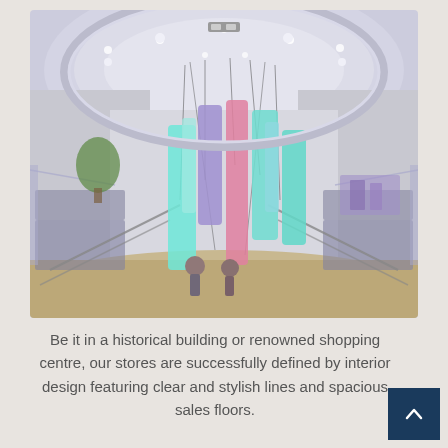[Figure (photo): Interior of a modern department store or shopping centre photographed with a fisheye/wide-angle lens from an upper floor. Large colourful illuminated hanging cylinders (light blue, pink, purple, teal) dominate the centre. The space is bright with white ceilings and recessed lighting. Shoppers and display counters are visible on the lower floor. Escalators and glass railings are visible on the sides.]
Be it in a historical building or renowned shopping centre, our stores are successfully defined by interior design featuring clear and stylish lines and spacious sales floors.